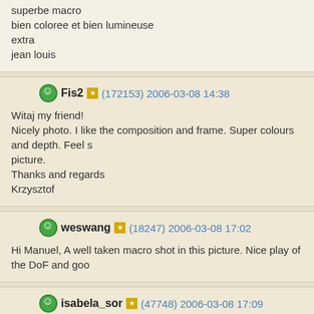superbe macro
bien coloree et bien lumineuse
extra
jean louis
Fis2 (172153) 2006-03-08 14:38
Witaj my friend!
Nicely photo. I like the composition and frame. Super colours and depth. Feel s... picture.
Thanks and regards
Krzysztof
weswang (18247) 2006-03-08 17:02
Hi Manuel, A well taken macro shot in this picture. Nice play of the DoF and goo...
isabela_sor (47748) 2006-03-08 17:09
Again an excellent butterfly macro, my dear Manuel!Amazing colors and details...
Saludos
Isabela